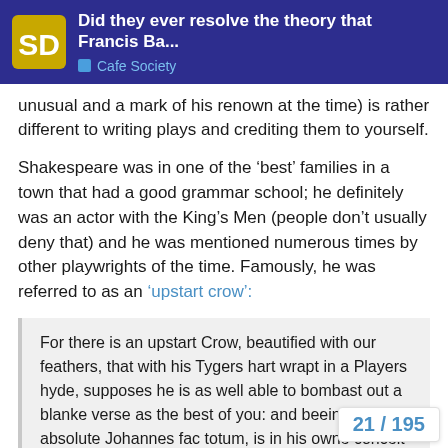Did they ever resolve the theory that Francis Ba... | Cafe Society
unusual and a mark of his renown at the time) is rather different to writing plays and crediting them to yourself.
Shakespeare was in one of the ‘best’ families in a town that had a good grammar school; he definitely was an actor with the King’s Men (people don’t usually deny that) and he was mentioned numerous times by other playwrights of the time. Famously, he was referred to as an ‘upstart crow’:
For there is an upstart Crow, beautified with our feathers, that with his Tygers hart wrapt in a Players hyde, supposes he is as well able to bombast out a blanke verse as the best of you: and beeing an absolute Johannes fac totum, is in his owne conceit the onely Shake-scene in a countrey.
Which really sounds like bitterness against someone who’s not posh behaving as if he can do as well as the posh people. That’s not something that would be levelle... DeVere or any of the conspiracy theorists’...
21 / 195